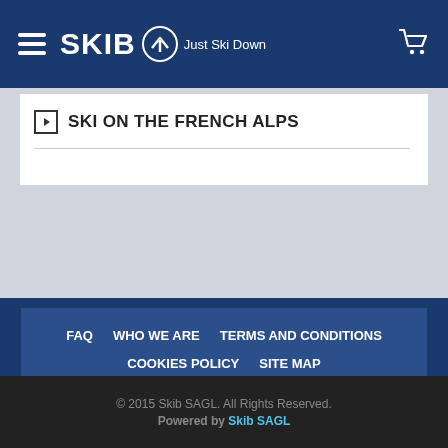SKIB Just Ski Down — navigation header with hamburger menu and cart icon
SKI ON THE FRENCH ALPS
FAQ
WHO WE ARE
TERMS AND CONDITIONS
COOKIES POLICY
SITE MAP
CONTACT US
English
© 2015 Skib SAGL. All Rights Reserved. Powered by Skib SAGL